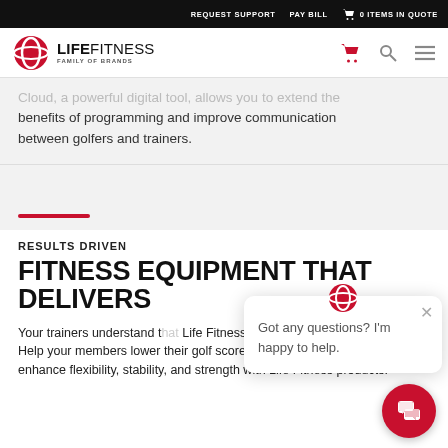REQUEST SUPPORT  PAY BILL  0 ITEMS IN QUOTE
[Figure (logo): Life Fitness Family of Brands logo with red oval icon and wordmark]
...oud, a powerful digital tool, allows you to extend the benefits of programming and improve communication between golfers and trainers.
RESULTS DRIVEN
FITNESS EQUIPMENT THAT DELIVERS
Your trainers understand that Life Fitness equipment to on the course. Help your members lower their golf scores by focusing on ways to enhance flexibility, stability, and strength with Life Fitness products.
Got any questions? I'm happy to help.